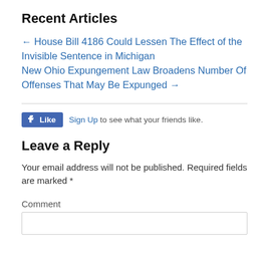Recent Articles
← House Bill 4186 Could Lessen The Effect of the Invisible Sentence in Michigan New Ohio Expungement Law Broadens Number Of Offenses That May Be Expunged →
[Figure (other): Facebook Like button widget with Sign Up link]
Leave a Reply
Your email address will not be published. Required fields are marked *
Comment